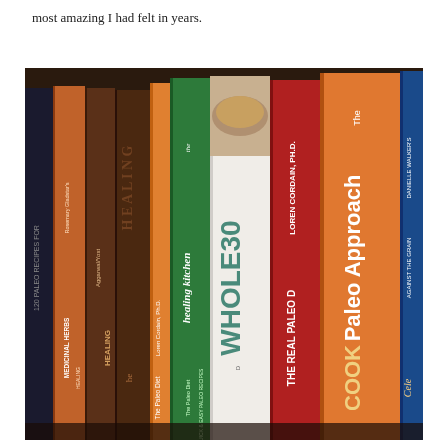most amazing I had felt in years.
[Figure (photo): A shelf of paleo/health diet cookbooks standing upright, spines visible. Books include: The Healing Kitchen (The Paleo Diet), WHOLE30, The Real Paleo Diet (Loren Cordain, Ph.D.), The Paleo Approach Cookbook, Danielle Walker's Against the Grain (Celebrate), Aggarwal/Yost Healing with Medicinal Herbs (120 Paleo recipes), and other paleo-related books.]